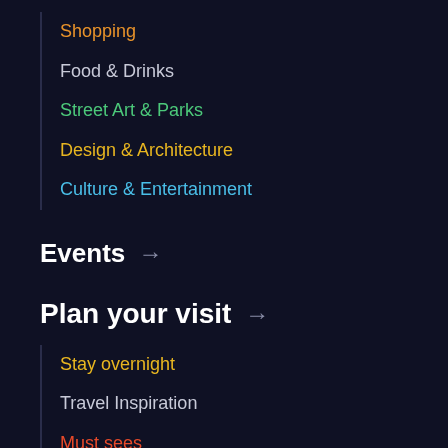Shopping
Food & Drinks
Street Art & Parks
Design & Architecture
Culture & Entertainment
Events →
Plan your visit →
Stay overnight
Travel Inspiration
Must sees
Accessibility
Living & working →